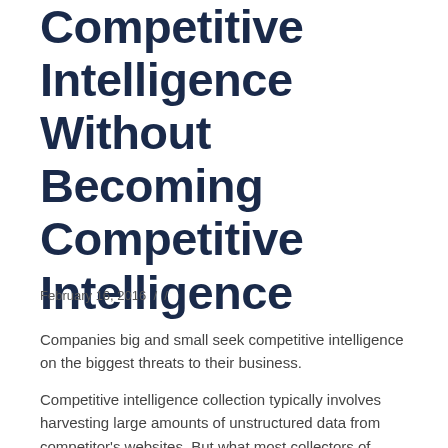How to Collect Competitive Intelligence Without Becoming Competitive Intelligence
February 16, 2016  /  /
Companies big and small seek competitive intelligence on the biggest threats to their business.
Competitive intelligence collection typically involves harvesting large amounts of unstructured data from competitor's websites. But what most collectors of